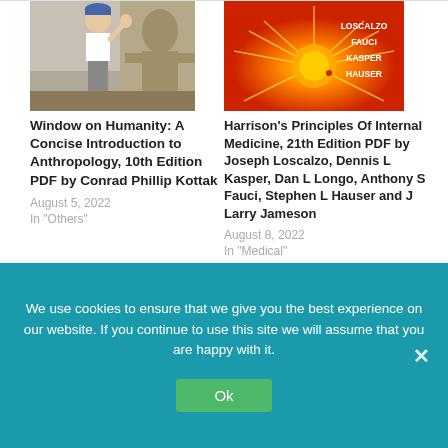[Figure (photo): Book cover photo: child with hand raised near stone temple carving]
Window on Humanity: A Concise Introduction to Anthropology, 10th Edition PDF by Conrad Phillip Kottak
August 5, 2022
In "Others"
[Figure (photo): Book cover: Harrison's Principles of Internal Medicine, red background with sun burst, authors listed: Loscalzo, Fauci, Kasper, Hauser]
Harrison's Principles Of Internal Medicine, 21th Edition PDF by Joseph Loscalzo, Dennis L Kasper, Dan L Longo, Anthony S Fauci, Stephen L Hauser and J Larry Jameson
August 8, 2022
In "Medical"
We use cookies to ensure that we give you the best experience on our website. If you continue to use this site we will assume that you are happy with it.